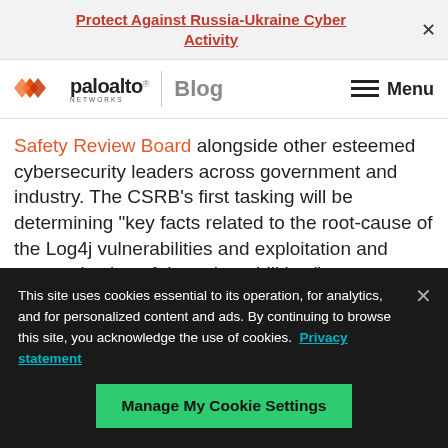Protect Against Russia-Ukraine Cyber Activity
[Figure (logo): Palo Alto Networks logo with blog label and menu icon]
Safety Review Board alongside other esteemed cybersecurity leaders across government and industry. The CSRB's first tasking will be determining "key facts related to the root-cause of the Log4j vulnerabilities and exploitation and weaponization of the vulnerabilities."
This site uses cookies essential to its operation, for analytics, and for personalized content and ads. By continuing to browse this site, you acknowledge the use of cookies. Privacy statement
Manage My Cookie Settings